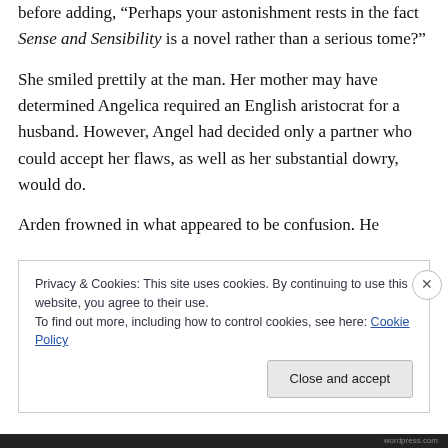before adding, “Perhaps your astonishment rests in the fact Sense and Sensibility is a novel rather than a serious tome?”
She smiled prettily at the man. Her mother may have determined Angelica required an English aristocrat for a husband. However, Angel had decided only a partner who could accept her flaws, as well as her substantial dowry, would do.
Arden frowned in what appeared to be confusion. He
Privacy & Cookies: This site uses cookies. By continuing to use this website, you agree to their use.
To find out more, including how to control cookies, see here: Cookie Policy